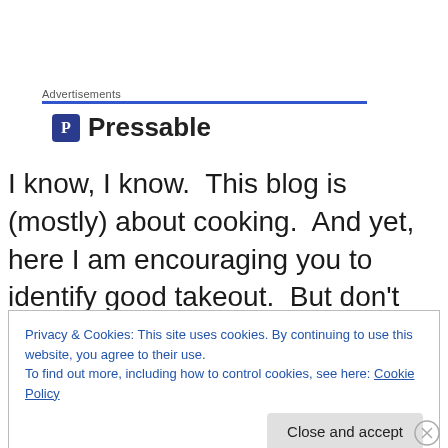Advertisements
[Figure (logo): Pressable logo with blue P icon and text 'Pressable']
I know, I know.  This blog is (mostly) about cooking.  And yet, here I am encouraging you to identify good takeout.  But don't we all know how it feels after a long day when you can't even face your fridge, much less your oven?  Sometimes, all you need is good Chinese food or New
Privacy & Cookies: This site uses cookies. By continuing to use this website, you agree to their use.
To find out more, including how to control cookies, see here: Cookie Policy